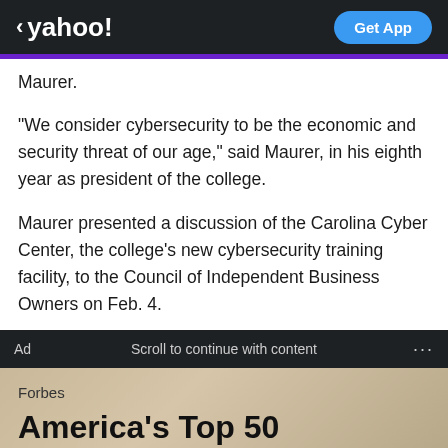< yahoo!  Get App
Maurer.
"We consider cybersecurity to be the economic and security threat of our age," said Maurer, in his eighth year as president of the college.
Maurer presented a discussion of the Carolina Cyber Center, the college's new cybersecurity training facility, to the Council of Independent Business Owners on Feb. 4.
Ad  Scroll to continue with content  ...
Forbes
America's Top 50 Colleges